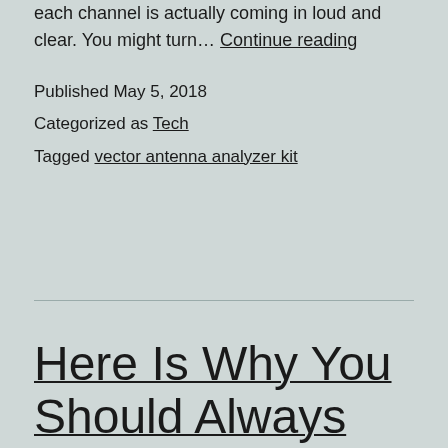each channel is actually coming in loud and clear. You might turn… Continue reading
Published May 5, 2018
Categorized as Tech
Tagged vector antenna analyzer kit
Here Is Why You Should Always Try to Hire A